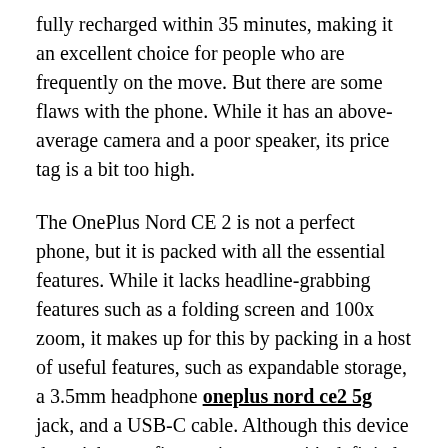fully recharged within 35 minutes, making it an excellent choice for people who are frequently on the move. But there are some flaws with the phone. While it has an above-average camera and a poor speaker, its price tag is a bit too high.
The OnePlus Nord CE 2 is not a perfect phone, but it is packed with all the essential features. While it lacks headline-grabbing features such as a folding screen and 100x zoom, it makes up for this by packing in a host of useful features, such as expandable storage, a 3.5mm headphone oneplus nord ce2 5g jack, and a USB-C cable. Although this device doesn't have a fingerprint sensor, it's definitely a good choice for people who need a reliable smartphone.
The screen of the Nord CE 2 is similar to that of its Nord sibling. The screen is 6.43 inches with Full HD